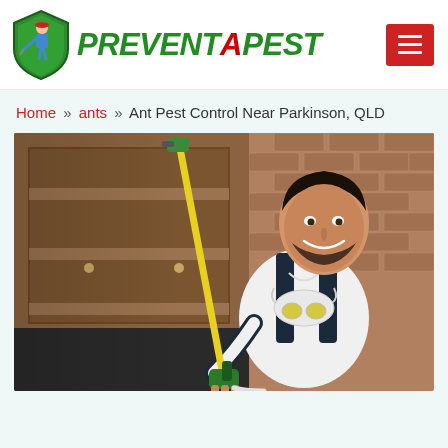PREVENT A PEST
Home » ants » Ant Pest Control Near Parkinson, QLD
[Figure (photo): A smiling male pest control technician in white shirt and dark overalls holding a yellow spray wand, with a respirator mask around his neck, spraying under kitchen cabinets near a brick wall.]